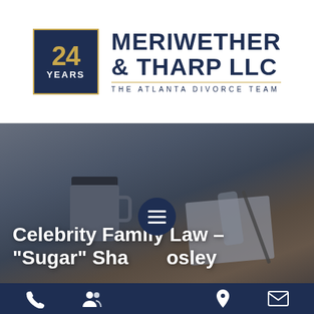[Figure (logo): Meriwether & Tharp LLC law firm logo with '24 YEARS' badge in dark blue and gold, and firm name in navy blue with tagline 'THE ATLANTA DIVORCE TEAM']
[Figure (photo): Dark overlay photo of a coffee mug, notebook, pen, and cylindrical object on a wooden desk surface, used as hero banner background]
Celebrity Family Law – "Sugar" Shane Mosley
[Figure (other): Circular hamburger menu button in dark navy blue with three white horizontal lines]
[Figure (other): Bottom navigation bar in dark navy blue with phone, group/contacts, location pin, and email icons]